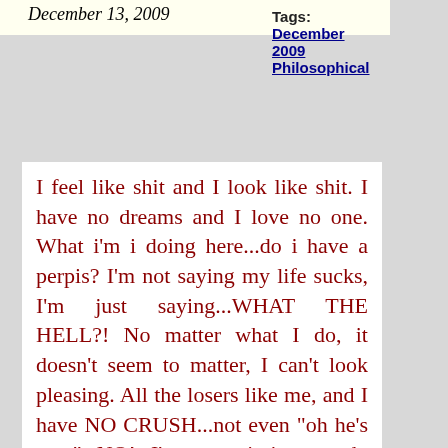December 13, 2009
Tags:
December 2009
Philosophical
I feel like shit and I look like shit. I have no dreams and I love no one. What i'm i doing here...do i have a perpis? I'm not saying my life sucks, I'm just saying...WHAT THE HELL?! No matter what I do, it doesn't seem to matter, I can't look pleasing. All the losers like me, and I have NO CRUSH...not even "oh he's cute" NO! I'm not aiming to do anyhting, but sure I have a plan. Go to university, become a highschool teacher, maybe